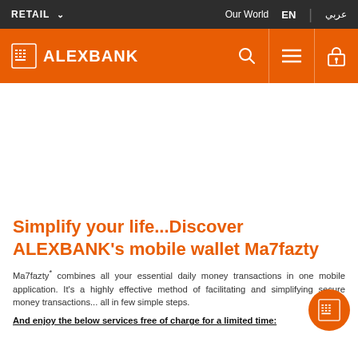RETAIL  Our World  EN  عربي
[Figure (logo): ALEXBANK orange header bar with logo, search icon, hamburger menu icon, and lock icon]
[Figure (photo): Hero image area (white/blank space below orange header)]
Simplify your life...Discover ALEXBANK's mobile wallet Ma7fazty
Ma7fazty* combines all your essential daily money transactions in one mobile application. It's a highly effective method of facilitating and simplifying secure money transactions... all in few simple steps.
And enjoy the below services free of charge for a limited time: